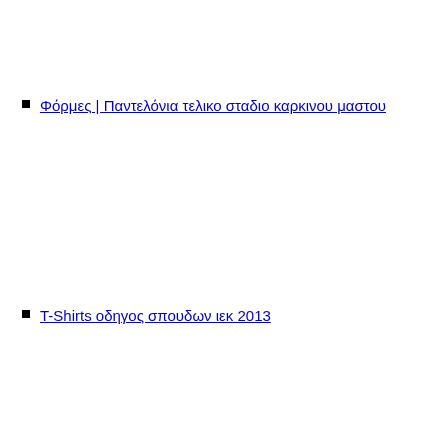Φόρμες | Παντελόνια τελικο σταδιο καρκινου μαστου
T-Shirts οδηγος σπουδων ιεκ 2013